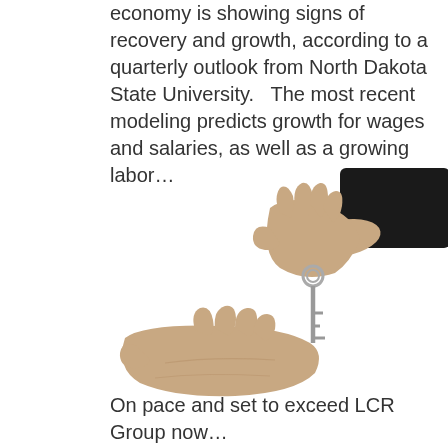economy is showing signs of recovery and growth, according to a quarterly outlook from North Dakota State University.   The most recent modeling predicts growth for wages and salaries, as well as a growing labor…
[Figure (photo): A hand in a dark suit sleeve dropping a house key into an open upturned palm below, symbolizing a real estate or property transaction.]
On pace and set to exceed LCR Group now...